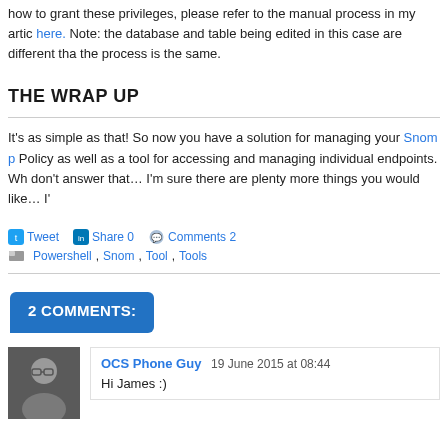how to grant these privileges, please refer to the manual process in my artic here. Note: the database and table being edited in this case are different tha the process is the same.
THE WRAP UP
It's as simple as that! So now you have a solution for managing your Snom p Policy as well as a tool for accessing and managing individual endpoints. Wh don't answer that… I'm sure there are plenty more things you would like… I'
Tweet  Share 0  Comments 2
Powershell, Snom, Tool, Tools
2 COMMENTS:
OCS Phone Guy  19 June 2015 at 08:44
Hi James :)